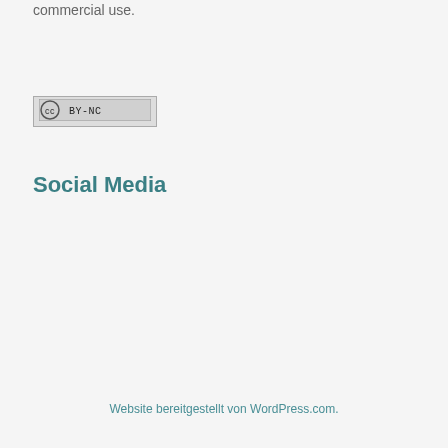commercial use.
[Figure (logo): Creative Commons BY-NC license badge]
Social Media
Website bereitgestellt von WordPress.com.